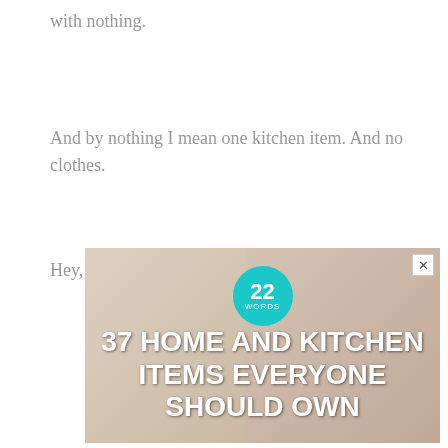with nothing.
And by nothing I mean one kitchen item.  And no clothes.
Hey, it's what I do.
[Figure (illustration): Advertisement banner with teal badge showing '22 WORDS' and bold white text reading '37 HOME AND KITCHEN ITEMS EVERYONE SHOULD OWN' over a blurred background image of a person]